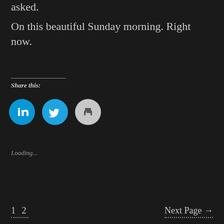asked.
On this beautiful Sunday morning. Right now.
Share this:
[Figure (other): Three social sharing icon buttons: LinkedIn (blue circle with 'in' logo), Twitter (blue circle with bird logo), Print (gray circle with printer icon)]
Loading...
1 2   Next Page →